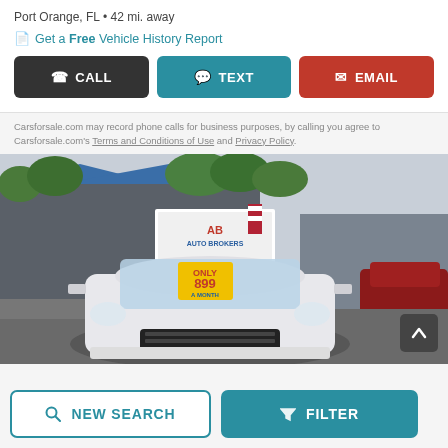Port Orange, FL • 42 mi. away
Get a Free Vehicle History Report
CALL  TEXT  EMAIL
Carsforsale.com may record phone calls for business purposes, by calling you agree to Carsforsale.com's Terms and Conditions of Use and Privacy Policy.
[Figure (photo): Front view of a white Chevrolet Cruze parked at AB Auto Brokers dealership lot. The car has a yellow price sticker on the windshield showing $899. In the background is a grey metal building with an AB Auto Brokers sign and an American flag.]
NEW SEARCH  FILTER